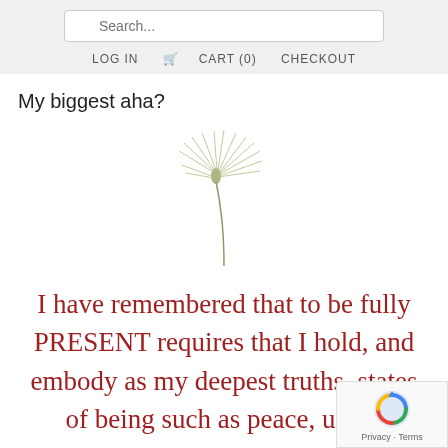Search... LOG IN CART (0) CHECKOUT
My biggest aha?
[Figure (illustration): A delicate dandelion seed illustration in muted olive/sage green, with fine radiating filaments from a central teardrop-shaped seed body, floating stem curving downward.]
I have remembered that to be fully PRESENT requires that I hold, and embody as my deepest truths, states of being such as peace, unity,